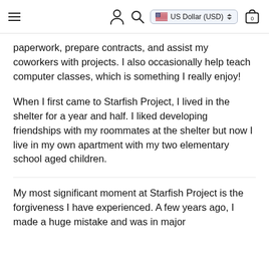≡  [person icon]  [search icon]  US Dollar (USD)  [cart 0]
paperwork, prepare contracts, and assist my coworkers with projects. I also occasionally help teach computer classes, which is something I really enjoy!
When I first came to Starfish Project, I lived in the shelter for a year and half. I liked developing friendships with my roommates at the shelter but now I live in my own apartment with my two elementary school aged children.
My most significant moment at Starfish Project is the forgiveness I have experienced. A few years ago, I made a huge mistake and was in major